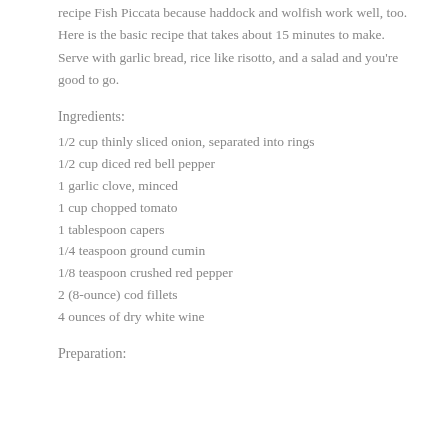recipe Fish Piccata because haddock and wolfish work well, too. Here is the basic recipe that takes about 15 minutes to make. Serve with garlic bread, rice like risotto, and a salad and you're good to go.
Ingredients:
1/2 cup thinly sliced onion, separated into rings
1/2 cup diced red bell pepper
1 garlic clove, minced
1 cup chopped tomato
1 tablespoon capers
1/4 teaspoon ground cumin
1/8 teaspoon crushed red pepper
2 (8-ounce) cod fillets
4 ounces of dry white wine
Preparation: